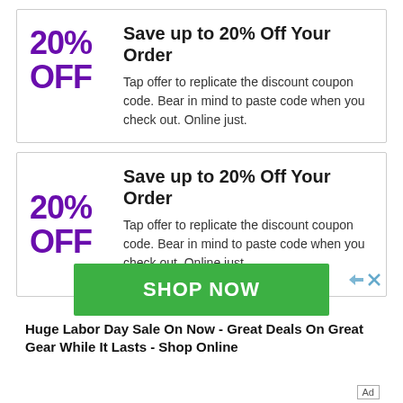Save up to 20% Off Your Order
20% OFF
Tap offer to replicate the discount coupon code. Bear in mind to paste code when you check out. Online just.
Save up to 20% Off Your Order
20% OFF
Tap offer to replicate the discount coupon code. Bear in mind to paste code when you check out. Online just.
[Figure (other): Green SHOP NOW advertisement banner with arrow and close icons]
Huge Labor Day Sale On Now - Great Deals On Great Gear While It Lasts - Shop Online
Ad